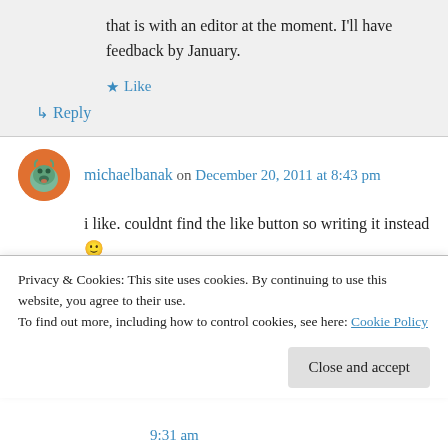that is with an editor at the moment. I'll have feedback by January.
★ Like
↳ Reply
michaelbanak on December 20, 2011 at 8:43 pm
i like. couldnt find the like button so writing it instead 🙂
Privacy & Cookies: This site uses cookies. By continuing to use this website, you agree to their use.
To find out more, including how to control cookies, see here: Cookie Policy
Close and accept
9:31 am